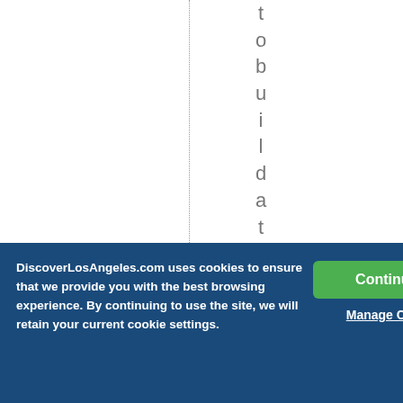t o b u i l d a t o w n . B e v e
DiscoverLosAngeles.com uses cookies to ensure that we provide you with the best browsing experience. By continuing to use the site, we will retain your current cookie settings.
Continue →
Manage Cookies